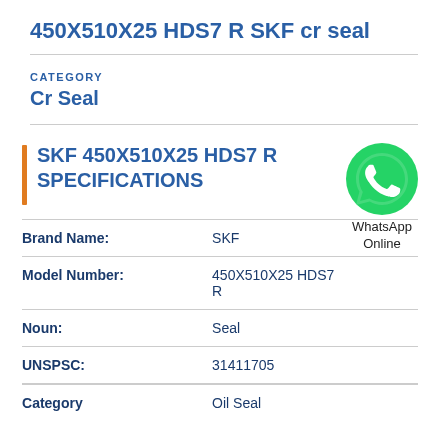450X510X25 HDS7 R SKF cr seal
CATEGORY
Cr Seal
SKF 450X510X25 HDS7 R SPECIFICATIONS
| Field | Value |
| --- | --- |
| Brand Name: | SKF |
| Model Number: | 450X510X25 HDS7 R |
| Noun: | Seal |
| UNSPSC: | 31411705 |
| Category | Oil Seal |